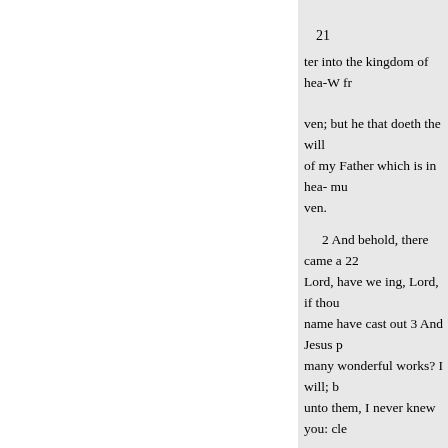21
ter into the kingdom of hea-W fr
ven; but he that doeth the will of my Father which is in hea- mu ven.
2 And behold, there came a 22 Lord, have we ing, Lord, if thou name have cast out 3 And Jesus p many wonderful works? I will; b unto them, I never knew you: cle
4 And Jesus saith unto him, Se thyself to the heareth these sayin commanded, for a testihim unto a
5 And when Jesus was 25 And
CHAP. VIII.
Christ's miracles.
« Previous